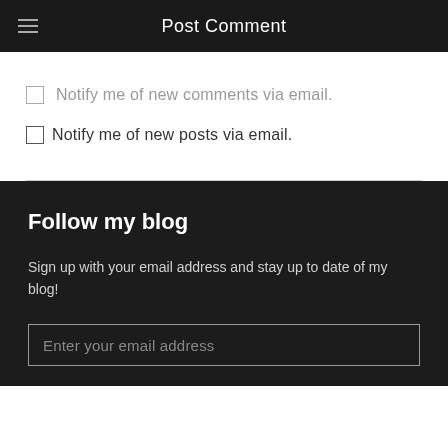Post Comment
Notify me of new comments via email.
Notify me of new posts via email.
Follow my blog
Sign up with your email address and stay up to date of my blog!
Enter your email address